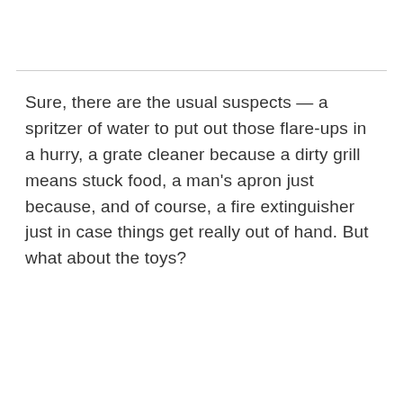Sure, there are the usual suspects — a spritzer of water to put out those flare-ups in a hurry, a grate cleaner because a dirty grill means stuck food, a man's apron just because, and of course, a fire extinguisher just in case things get really out of hand. But what about the toys?